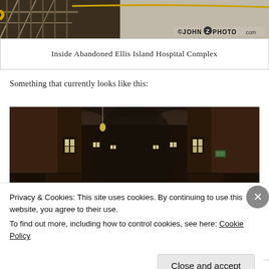[Figure (photo): Top portion of a photo showing interior of abandoned Ellis Island Hospital Complex — metal stairs/railings, brick walls, exposed ceiling with a cable/wire running across. Watermark: ©JOHN Z PHOTO.com visible in lower right of image.]
Inside Abandoned Ellis Island Hospital Complex
Something that currently looks like this:
[Figure (photo): Interior hallway of the abandoned Ellis Island Hospital Complex — dark, deteriorating walls with peeling paint, arched ceiling, multiple doorways receding into distance with glowing light from windows.]
Privacy & Cookies: This site uses cookies. By continuing to use this website, you agree to their use.
To find out more, including how to control cookies, see here: Cookie Policy